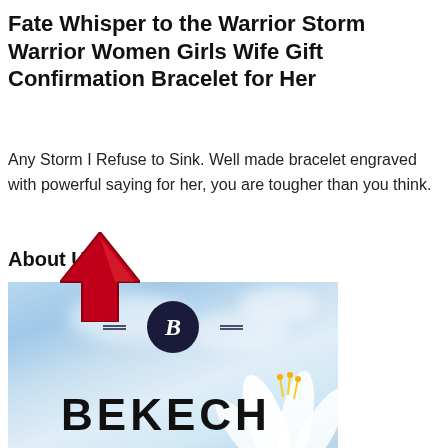Fate Whisper to the Warrior Storm Warrior Women Girls Wife Gift Confirmation Bracelet for Her
Any Storm I Refuse to Sink. Well made bracelet engraved with powerful saying for her, you are tougher than you think.
About Us
[Figure (logo): BEKECH brand logo image with sky background, decorative circle logo with B letter, horizontal dashes on sides, and BEKECH brand name text. White lily flowers visible at bottom right. Red upward arrow overlaid at top left area.]